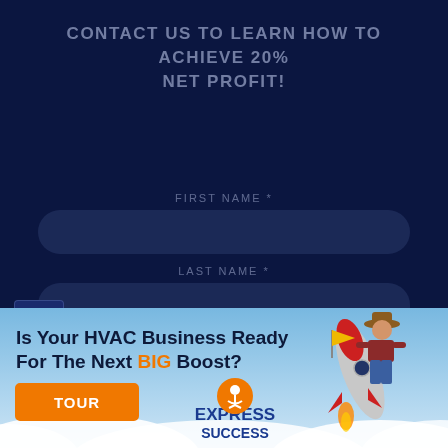CONTACT US TO LEARN HOW TO ACHIEVE 20% NET PROFIT!
FIRST NAME *
LAST NAME *
[Figure (infographic): Advertisement banner for Express Success HVAC business coaching. Light blue sky background with snow hills at bottom. Shows rocket with cowboy character riding it holding a yellow flag. Text: 'Is Your HVAC Business Ready For The Next BIG Boost?' with orange TOUR button and Express Success logo.]